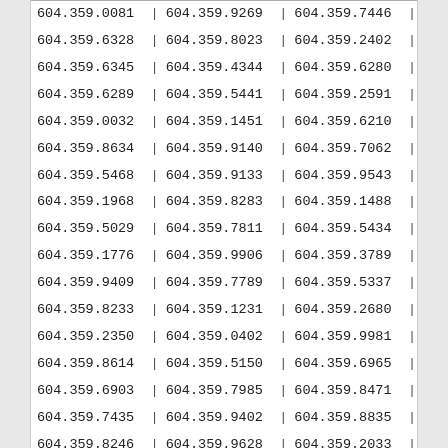| 604.359.0081 | | | 604.359.9269 | | | 604.359.7446 | | |
| 604.359.6328 | | | 604.359.8023 | | | 604.359.2402 | | |
| 604.359.6345 | | | 604.359.4344 | | | 604.359.6280 | | |
| 604.359.6289 | | | 604.359.5441 | | | 604.359.2591 | | |
| 604.359.0032 | | | 604.359.1451 | | | 604.359.6210 | | |
| 604.359.8634 | | | 604.359.9140 | | | 604.359.7062 | | |
| 604.359.5468 | | | 604.359.9133 | | | 604.359.9543 | | |
| 604.359.1968 | | | 604.359.8283 | | | 604.359.1488 | | |
| 604.359.5029 | | | 604.359.7811 | | | 604.359.5434 | | |
| 604.359.1776 | | | 604.359.9906 | | | 604.359.3789 | | |
| 604.359.9409 | | | 604.359.7789 | | | 604.359.5337 | | |
| 604.359.8233 | | | 604.359.1231 | | | 604.359.2680 | | |
| 604.359.2350 | | | 604.359.0402 | | | 604.359.9981 | | |
| 604.359.8614 | | | 604.359.5150 | | | 604.359.6965 | | |
| 604.359.6903 | | | 604.359.7985 | | | 604.359.8471 | | |
| 604.359.7435 | | | 604.359.9402 | | | 604.359.8835 | | |
| 604.359.8246 | | | 604.359.9628 | | | 604.359.2033 | | |
| 604.359.0915 | | | 604.359.4262 | | | 604.359.4054 | | |
| 604.359.8481 | | | 604.359.8107 | | | 604.359.8181 | | |